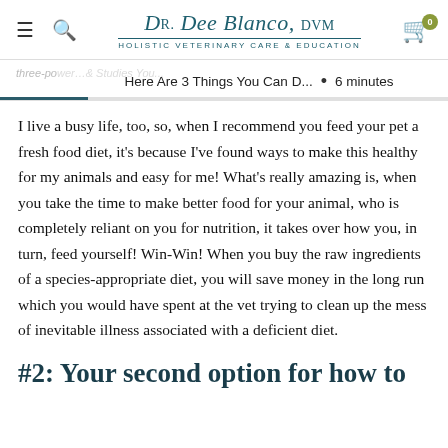Dr. Dee Blanco, DVM — HOLISTIC VETERINARY CARE & EDUCATION
Here Are 3 Things You Can D... • 6 minutes
I live a busy life, too, so, when I recommend you feed your pet a fresh food diet, it's because I've found ways to make this healthy for my animals and easy for me! What's really amazing is, when you take the time to make better food for your animal, who is completely reliant on you for nutrition, it takes over how you, in turn, feed yourself! Win-Win! When you buy the raw ingredients of a species-appropriate diet, you will save money in the long run which you would have spent at the vet trying to clean up the mess of inevitable illness associated with a deficient diet.
#2: Your second option for how to